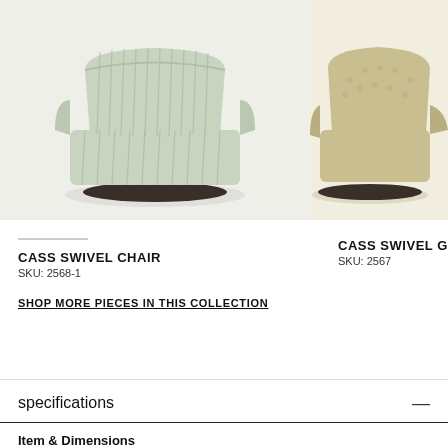[Figure (photo): Light green/mint striped swivel chair with dark round base, photographed on white background]
[Figure (photo): Beige/tan textured swivel glider chair with dark round base, photographed on white background, partially cropped]
CASS SWIVEL CHAIR
SKU: 2568-1
CASS SWIVEL GLID
SKU: 2567
SHOP MORE PIECES IN THIS COLLECTION
specifications
Item & Dimensions